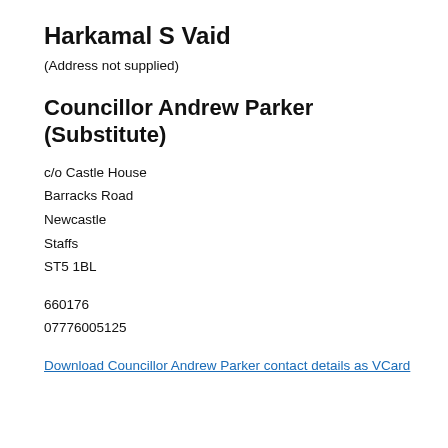Harkamal S Vaid
(Address not supplied)
Councillor Andrew Parker (Substitute)
c/o Castle House
Barracks Road
Newcastle
Staffs
ST5 1BL
660176
07776005125
Download Councillor Andrew Parker contact details as VCard